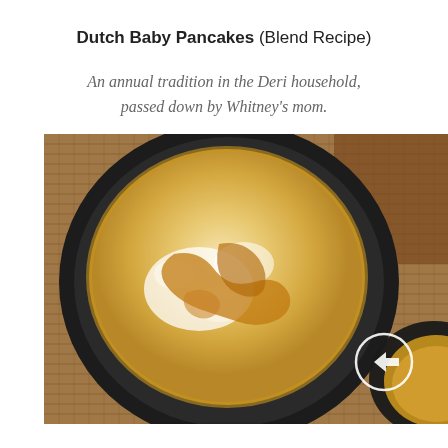Dutch Baby Pancakes (Blend Recipe)
An annual tradition in the Deri household, passed down by Whitney's mom.
[Figure (photo): A cast iron skillet containing a puffed Dutch baby pancake dusted with powdered sugar and drizzled with syrup, sitting on a woven mat. A second skillet is partially visible in the lower right corner with a circular emblem.]